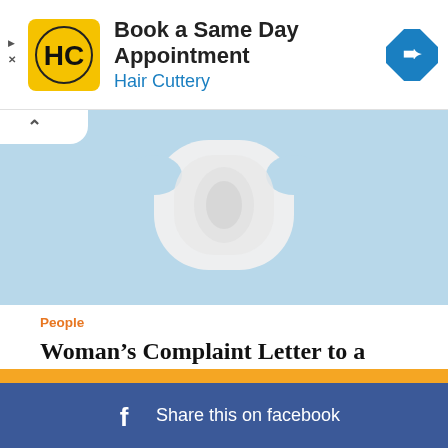[Figure (screenshot): Advertisement banner for Hair Cuttery: yellow logo with HC initials, text 'Book a Same Day Appointment / Hair Cuttery', blue diamond arrow icon on right. Small play triangle and X icons on left edge.]
[Figure (photo): Close-up photo of a white maxi pad on a light blue background, partially cropped, shown from above.]
People
Woman’s Complaint Letter to a Maxi Pad Company Is Absolutely Hilarious
[Figure (screenshot): Previous and next navigation arrow buttons (left chevron and right chevron) in grey bordered boxes.]
[Figure (screenshot): Facebook share bar: orange stripe above dark blue bar with Facebook 'f' icon and text 'Share this on facebook'.]